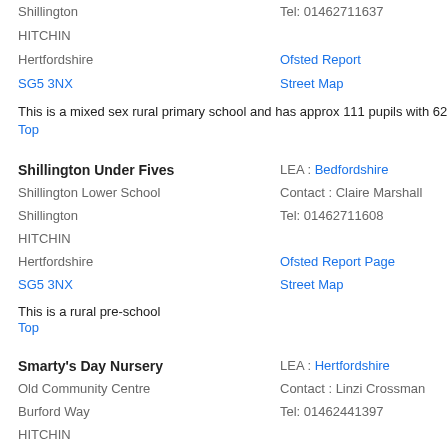Shillington
Tel: 01462711637
HITCHIN
Hertfordshire
Ofsted Report
SG5 3NX
Street Map
This is a mixed sex rural primary school and has approx 111 pupils with 62 boys and 49 g
Top
Shillington Under Fives
LEA : Bedfordshire
Shillington Lower School
Contact : Claire Marshall
Shillington
Tel: 01462711608
HITCHIN
Hertfordshire
Ofsted Report Page
SG5 3NX
Street Map
This is a rural pre-school
Top
Smarty's Day Nursery
LEA : Hertfordshire
Old Community Centre
Contact : Linzi Crossman
Burford Way
Tel: 01462441397
HITCHIN
Hertfordshire
Ofsted Report Page
SG5 2UZ
Street Map